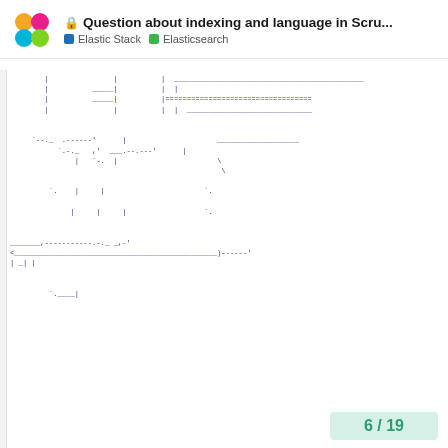Question about indexing and language in Scru... | Elastic Stack | Elasticsearch
[Figure (screenshot): ASCII art / code diagram showing tree-like structure with pipe characters, dashes, backslashes and equals signs rendered in monospace font]
6 / 19